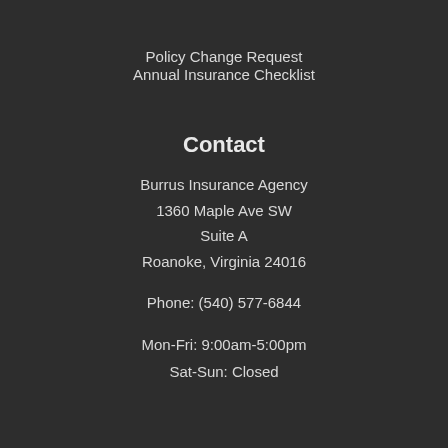Policy Change Request
Annual Insurance Checklist
Contact
Burrus Insurance Agency
1360 Maple Ave SW
Suite A
Roanoke, Virginia 24016
Phone: (540) 577-6844
Mon-Fri: 9:00am-5:00pm
Sat-Sun: Closed